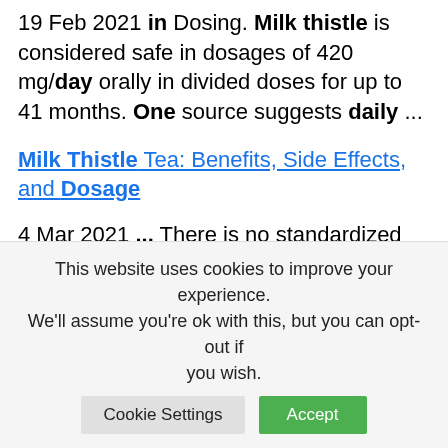19 Feb 2021 in Dosing. Milk thistle is considered safe in dosages of 420 mg/day orally in divided doses for up to 41 months. One source suggests daily ...
Milk Thistle Tea: Benefits, Side Effects, and Dosage
4 Mar 2021 ... There is no standardized dosage or recommended intake for milk thistle tea, but it's generally considered safe
This website uses cookies to improve your experience. We'll assume you're ok with this, but you can opt-out if you wish.